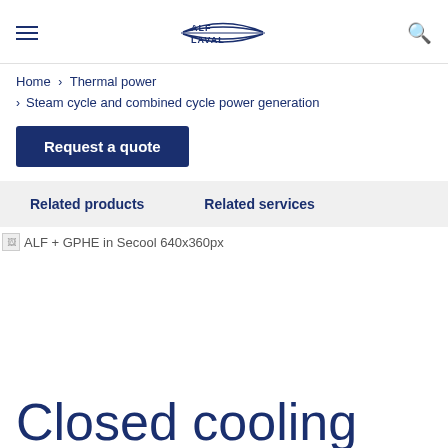Alfa Laval — navigation header with hamburger menu, logo, and search icon
Home › Thermal power
› Steam cycle and combined cycle power generation
Request a quote
Related products    Related services
[Figure (photo): ALF + GPHE in Secool 640x360px — broken/missing image placeholder]
Closed cooling